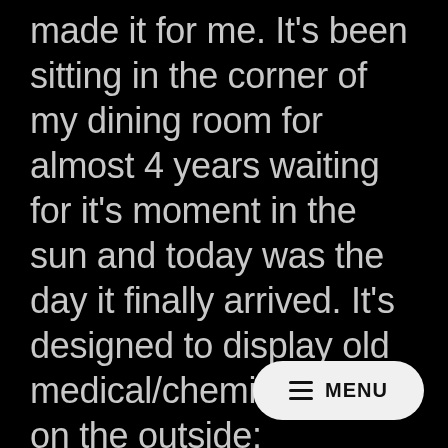made it for me. It's been sitting in the corner of my dining room for almost 4 years waiting for it's moment in the sun and today was the day it finally arrived. It's designed to display old medical/chemist items on the outside: